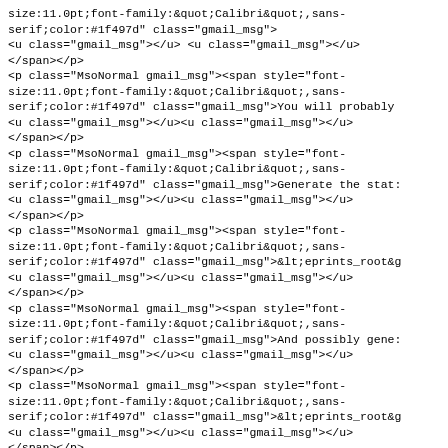size:11.0pt;font-family:&quot;Calibri&quot;,sans-serif;color:#1f497d" class="gmail_msg">
<u class="gmail_msg"></u> <u class="gmail_msg"></u>
</span></p>
<p class="MsoNormal gmail_msg"><span style="font-size:11.0pt;font-family:&quot;Calibri&quot;,sans-serif;color:#1f497d" class="gmail_msg">You will probably
<u class="gmail_msg"></u><u class="gmail_msg"></u>
</span></p>
<p class="MsoNormal gmail_msg"><span style="font-size:11.0pt;font-family:&quot;Calibri&quot;,sans-serif;color:#1f497d" class="gmail_msg">Generate the stat:
<u class="gmail_msg"></u><u class="gmail_msg"></u>
</span></p>
<p class="MsoNormal gmail_msg"><span style="font-size:11.0pt;font-family:&quot;Calibri&quot;,sans-serif;color:#1f497d" class="gmail_msg">&lt;eprints_root&g
<u class="gmail_msg"></u><u class="gmail_msg"></u>
</span></p>
<p class="MsoNormal gmail_msg"><span style="font-size:11.0pt;font-family:&quot;Calibri&quot;,sans-serif;color:#1f497d" class="gmail_msg">And possibly gene:
<u class="gmail_msg"></u><u class="gmail_msg"></u>
</span></p>
<p class="MsoNormal gmail_msg"><span style="font-size:11.0pt;font-family:&quot;Calibri&quot;,sans-serif;color:#1f497d" class="gmail_msg">&lt;eprints_root&g
<u class="gmail_msg"></u><u class="gmail_msg"></u>
</span></p>
<p class="MsoNormal gmail_msg"><span style="font-size: